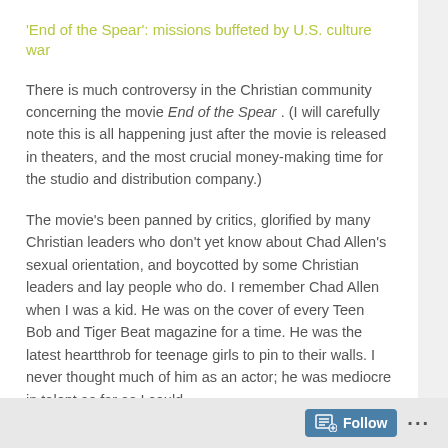'End of the Spear': missions buffeted by U.S. culture war
There is much controversy in the Christian community concerning the movie End of the Spear . (I will carefully note this is all happening just after the movie is released in theaters, and the most crucial money-making time for the studio and distribution company.)
The movie's been panned by critics, glorified by many Christian leaders who don't yet know about Chad Allen's sexual orientation, and boycotted by some Christian leaders and lay people who do. I remember Chad Allen when I was a kid. He was on the cover of every Teen Bob and Tiger Beat magazine for a time. He was the latest heartthrob for teenage girls to pin to their walls. I never thought much of him as an actor; he was mediocre in talent as far as I could
Follow ...